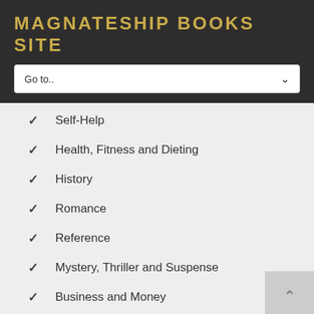MAGNATESHIP BOOKS SITE
Go to..
Self-Help
Health, Fitness and Dieting
History
Romance
Reference
Mystery, Thriller and Suspense
Business and Money
Parenting and Relationships